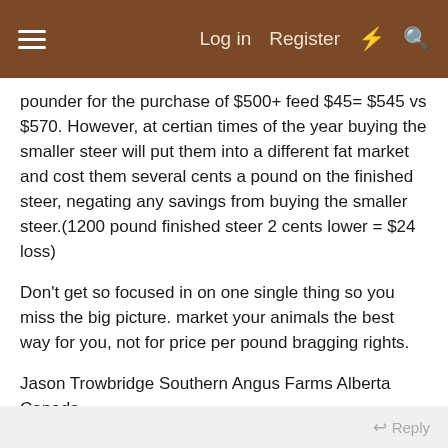≡   Log in   Register   ⚡   🔍
pounder for the purchase of $500+ feed $45= $545 vs $570. However, at certian times of the year buying the smaller steer will put them into a different fat market and cost them several cents a pound on the finished steer, negating any savings from buying the smaller steer.(1200 pound finished steer 2 cents lower = $24 loss)
Don't get so focused in on one single thing so you miss the big picture. market your animals the best way for you, not for price per pound bragging rights.
Jason Trowbridge Southern Angus Farms Alberta Canada
trow@bigfoot.com